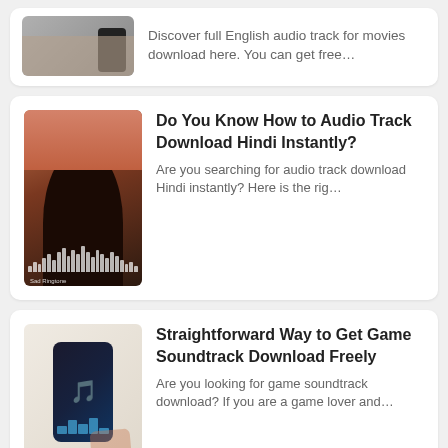[Figure (photo): Partial card at top: hand holding smartphone]
Discover full English audio track for movies download here. You can get free…
[Figure (photo): Card with silhouette of woman from behind with audio waveform overlay]
Do You Know How to Audio Track Download Hindi Instantly?
Are you searching for audio track download Hindi instantly? Here is the rig…
[Figure (photo): Hand holding smartphone with music/audio app displayed]
Straightforward Way to Get Game Soundtrack Download Freely
Are you looking for game soundtrack download? If you are a game lover and…
[Figure (photo): Yellow background card image (partial)]
The Best Way to Get Remix